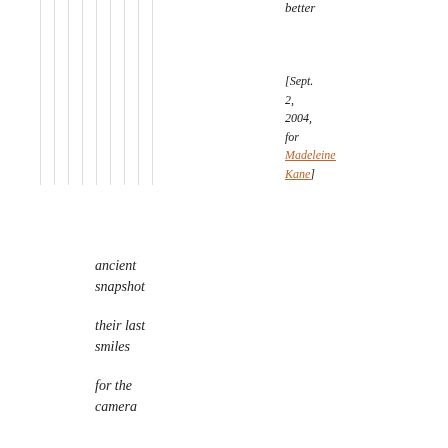better
[Sept. 2, 2004, for Madeleine Kane]
ancient snapshot

their last smiles

for the camera